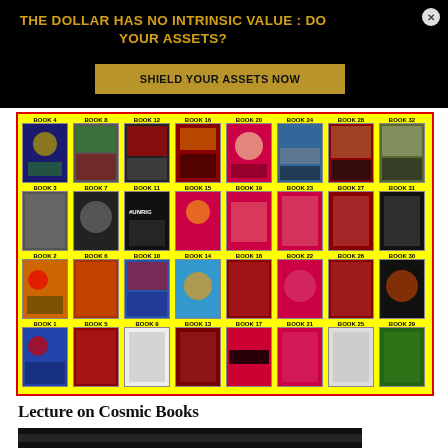THE DOLLAR HAS NO INTRINSIC VALUE : DO YOUR ASSETS?
SHIELD YOUR ASSETS NOW
[Figure (illustration): Grid of 32 book covers arranged in 4 rows, labeled BOOK 1 through BOOK 32 with colorful covers on yellow background with red border]
Lecture on Cosmic Books
[Figure (screenshot): Dark preview image of a lecture video at the bottom of the page]